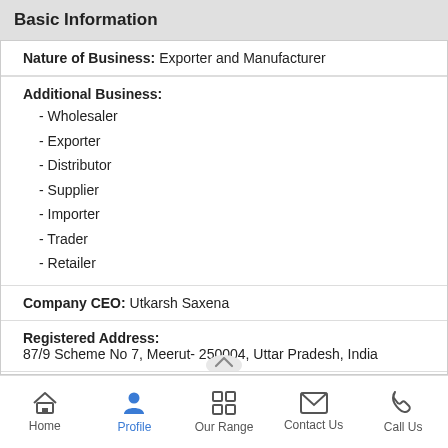Basic Information
Nature of Business: Exporter and Manufacturer
Additional Business:
- Wholesaler
- Exporter
- Distributor
- Supplier
- Importer
- Trader
- Retailer
Company CEO: Utkarsh Saxena
Registered Address:
87/9 Scheme No 7, Meerut- 250004, Uttar Pradesh, India
Total Number of Employees: Upto 10 People
Home | Profile | Our Range | Contact Us | Call Us